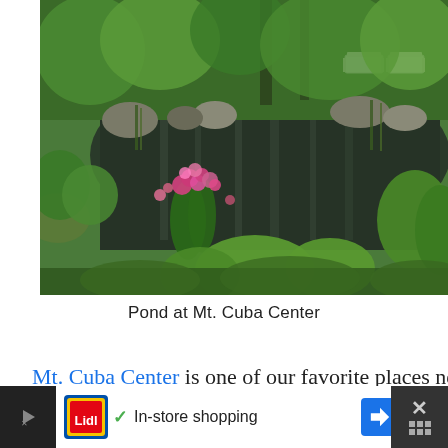[Figure (photo): Photo of a garden pond with lush green vegetation, ferns, pink and magenta flowering plants, mossy rocks, and reflective dark water. White garden benches visible in the upper right background.]
Pond at Mt. Cuba Center
Mt. Cuba Center is one of our favorite places near Wilmington. Filled with thousands of species of native plants, the preserve includes landscaped gardens, a trial garden, and lots of nature trails that showcase the be...
[Figure (other): Advertisement bar: Lidl logo, checkmark, In-store shopping text, navigation arrow button, and close X button]